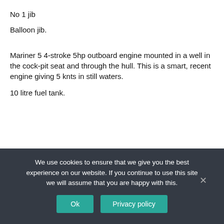No 1 jib
Balloon jib.
Mariner 5 4-stroke 5hp outboard engine mounted in a well in the cock-pit seat and through the hull. This is a smart, recent engine giving 5 knts in still waters.
10 litre fuel tank.
We use cookies to ensure that we give you the best experience on our website. If you continue to use this site we will assume that you are happy with this.